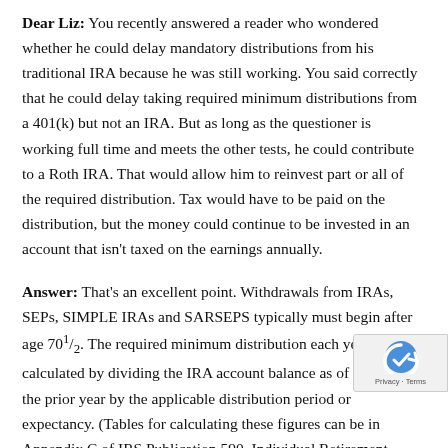Dear Liz: You recently answered a reader who wondered whether he could delay mandatory distributions from his traditional IRA because he was still working. You said correctly that he could delay taking required minimum distributions from a 401(k) but not an IRA. But as long as the questioner is working full time and meets the other tests, he could contribute to a Roth IRA. That would allow him to reinvest part or all of the required distribution. Tax would have to be paid on the distribution, but the money could continue to be invested in an account that isn't taxed on the earnings annually.
Answer: That's an excellent point. Withdrawals from IRAs, SEPs, SIMPLE IRAs and SARSEPS typically must begin after age 701/2. The required minimum distribution each year is calculated by dividing the IRA account balance as of Dec. 31 of the prior year by the applicable distribution period or expectancy. (Tables for calculating these figures can be in Appendix C of IRS Publication 590, Individual Retirement